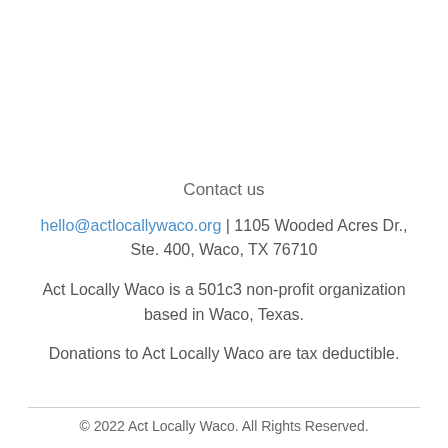Contact us
hello@actlocallywaco.org | 1105 Wooded Acres Dr., Ste. 400, Waco, TX 76710
Act Locally Waco is a 501c3 non-profit organization based in Waco, Texas.
Donations to Act Locally Waco are tax deductible.
© 2022 Act Locally Waco. All Rights Reserved.